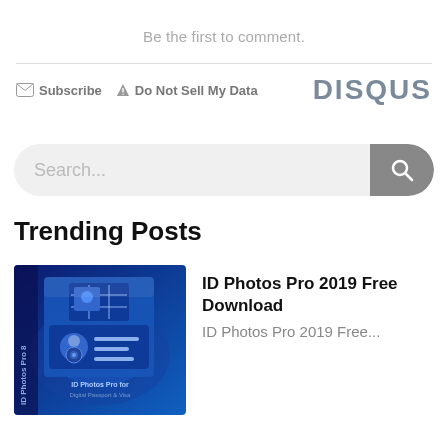Be the first to comment.
[Figure (screenshot): Disqus comment widget footer bar with Subscribe and Do Not Sell My Data links and DISQUS logo]
[Figure (screenshot): Search bar with placeholder text 'Search...' and a grey search button with magnifying glass icon]
Trending Posts
[Figure (screenshot): Thumbnail image of ID Photos Pro 8 software box with blue background]
ID Photos Pro 2019 Free Download
ID Photos Pro 2019 Free...